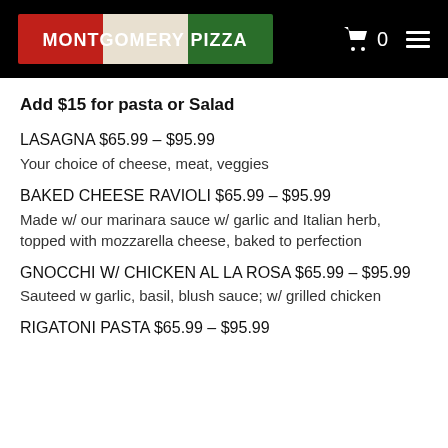MONTGOMERY PIZZA
Add $15 for pasta or Salad
LASAGNA $65.99 – $95.99
Your choice of cheese, meat, veggies
BAKED CHEESE RAVIOLI $65.99 – $95.99
Made w/ our marinara sauce w/ garlic and Italian herb, topped with mozzarella cheese, baked to perfection
GNOCCHI W/ CHICKEN AL LA ROSA $65.99 – $95.99
Sauteed w garlic, basil, blush sauce; w/ grilled chicken
RIGATONI PASTA $65.99 – $95.99